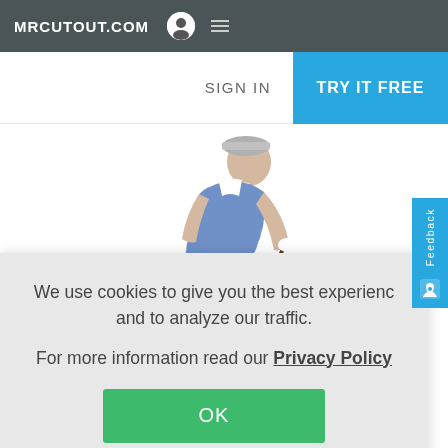MRCUTOUT.COM
SIGN IN
TRY IT FREE
[Figure (photo): Person in a blue checkered vest bending over with a golf club, on a white background (cutout image)]
Feedback
We use cookies to give you the best experience and to analyze our traffic.

For more information read our Privacy Policy

OK